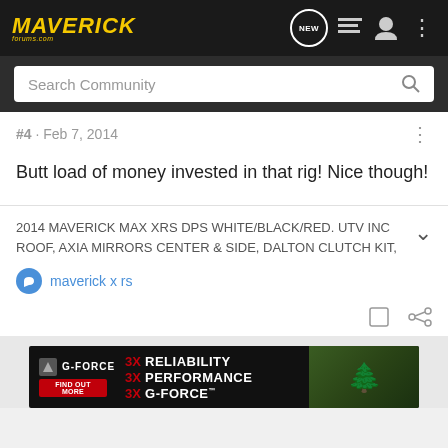MAVERICK forums.com — navigation bar with NEW, list, user, and menu icons
Search Community
#4 · Feb 7, 2014
Butt load of money invested in that rig! Nice though!
2014 MAVERICK MAX XRS DPS WHITE/BLACK/RED. UTV INC ROOF, AXIA MIRRORS CENTER & SIDE, DALTON CLUTCH KIT,
maverick x rs
[Figure (screenshot): G-FORCE advertisement banner: 3X RELIABILITY, 3X PERFORMANCE, 3X G-FORCE with FIND OUT MORE button and forest/ATV image on right]